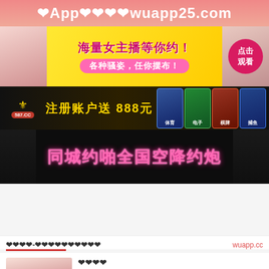❤App❤❤❤❤wuapp25.com
[Figure (infographic): Pink/yellow adult live streaming ad banner: 海量女主播等你约！各种骚姿，任你摆布！with pink button 点击观看]
[Figure (infographic): Dark gambling casino ad banner: 澳门新葡京 587.CC 注册账户送888元 with game category icons]
[Figure (infographic): Black adult dating ad banner: 同城约啪全国空降约炮 in pink glowing text]
❤❤❤❤-❤❤❤❤❤❤❤❤❤❤
wuapp.cc
[Figure (photo): Thumbnail of a woman]
❤❤❤❤
❤❤❤❤ ❤❤❤❤ ❤❤❤❤
❤❤❤❤